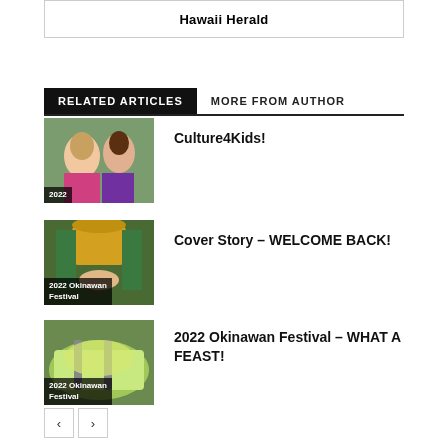Hawaii Herald
RELATED ARTICLES
MORE FROM AUTHOR
[Figure (photo): Two women posing outdoors, badge: 2022]
Culture4Kids!
[Figure (photo): Person wearing pineapple hat costume, badge: 2022 Okinawan Festival]
Cover Story – WELCOME BACK!
[Figure (photo): Food dish at festival, badge: 2022 Okinawan Festival]
2022 Okinawan Festival – WHAT A FEAST!
‹  ›